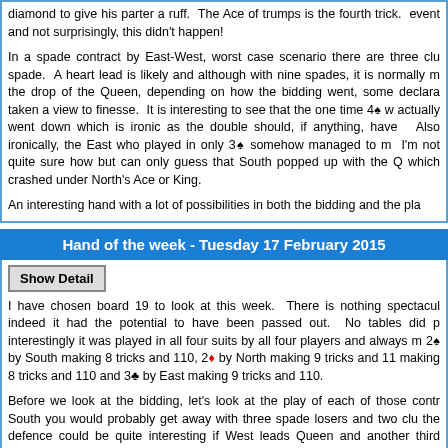diamond to give his parter a ruff. The Ace of trumps is the fourth trick. event and not surprisingly, this didn't happen!
In a spade contract by East-West, worst case scenario there are three club spade. A heart lead is likely and although with nine spades, it is normally the drop of the Queen, depending on how the bidding went, some declara taken a view to finesse. It is interesting to see that the one time 4♠ w actually went down which is ironic as the double should, if anything, have Also ironically, the East who played in only 3♠ somehow managed to m I'm not quite sure how but can only guess that South popped up with the Q which crashed under North's Ace or King.
An interesting hand with a lot of possibilities in both the bidding and the pl
Hand of the week - Tuesday 17 February 2015
Show Detail
I have chosen board 19 to look at this week. There is nothing spectacul indeed it had the potential to have been passed out. No tables did p interestingly it was played in all four suits by all four players and always m 2♠ by South making 8 tricks and 110, 2♦ by North making 9 tricks and 11 making 8 tricks and 110 and 3♣ by East making 9 tricks and 110.
Before we look at the bidding, let's look at the play of each of those contr South you would probably get away with three spade losers and two clu the defence could be quite interesting if West leads Queen and another third round of clubs, South could ruff with the 7 of spades and West is pro discard a diamond rather than overruff which would make things awkwa Anyway, at the table, South managed to make the contract.
In 2♦ by North, in practice East is likely to lead a top club. If he leads A